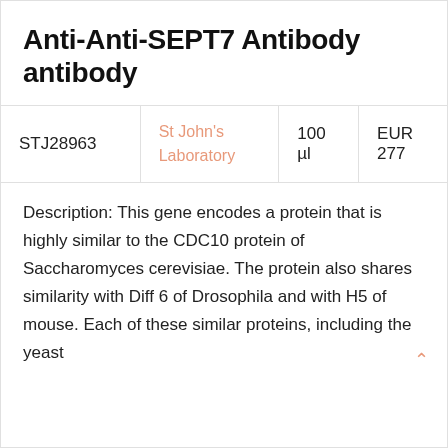Anti-Anti-SEPT7 Antibody antibody
|  |  |  |  |
| --- | --- | --- | --- |
| STJ28963 | St John's Laboratory | 100 µl | EUR 277 |
Description: This gene encodes a protein that is highly similar to the CDC10 protein of Saccharomyces cerevisiae. The protein also shares similarity with Diff 6 of Drosophila and with H5 of mouse. Each of these similar proteins, including the yeast